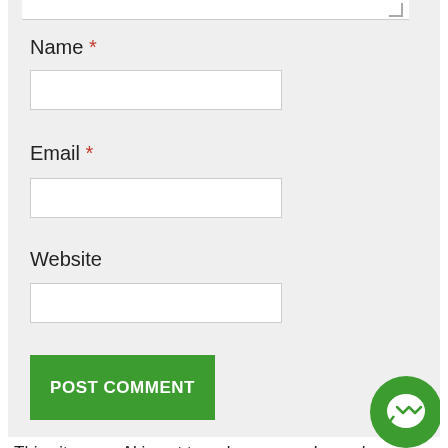Name *
[Figure (screenshot): Text input field for Name]
Email *
[Figure (screenshot): Text input field for Email]
Website
[Figure (screenshot): Text input field for Website]
[Figure (screenshot): POST COMMENT green button]
This site uses Akismet to reduce spam. Learn how your comment data is processed.
FOLLOW ON FACEBOOK